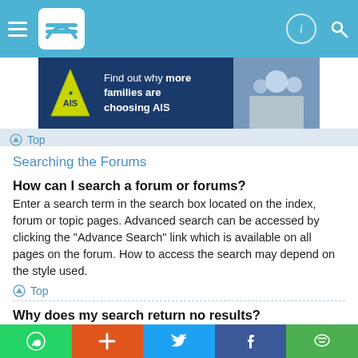[Figure (screenshot): Navigation bar with hamburger menu, logo, info icon, and search icon on blue background]
[Figure (infographic): Banner advertisement: Find out why more families are choosing AIS]
Top
Searching the Forums
How can I search a forum or forums?
Enter a search term in the search box located on the index, forum or topic pages. Advanced search can be accessed by clicking the “Advance Search” link which is available on all pages on the forum. How to access the search may depend on the style used.
Top
Why does my search return no results?
Your search was probably too vague and included many common terms which are not indexed by phpBB. Be more specific and use the options available within Advanced search.
[Figure (screenshot): Social share bar with WhatsApp, Plus, Twitter, Facebook, and WeChat buttons]